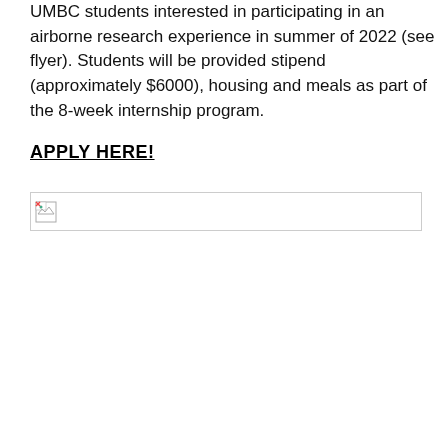UMBC students interested in participating in an airborne research experience in summer of 2022 (see flyer). Students will be provided stipend (approximately $6000), housing and meals as part of the 8-week internship program.
APPLY HERE!
[Figure (other): Broken/unloaded image placeholder with small broken image icon in top-left corner]